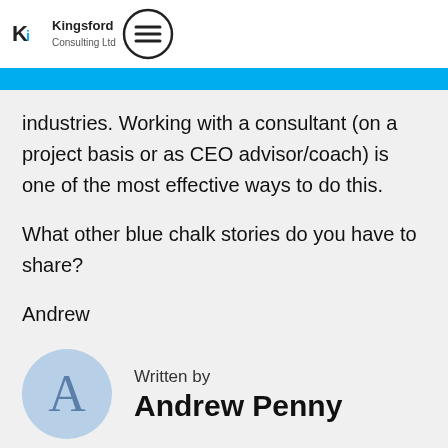Kingsford Consulting Ltd
industries. Working with a consultant (on a project basis or as CEO advisor/coach) is one of the most effective ways to do this.
What other blue chalk stories do you have to share?
Andrew
Written by
Andrew Penny